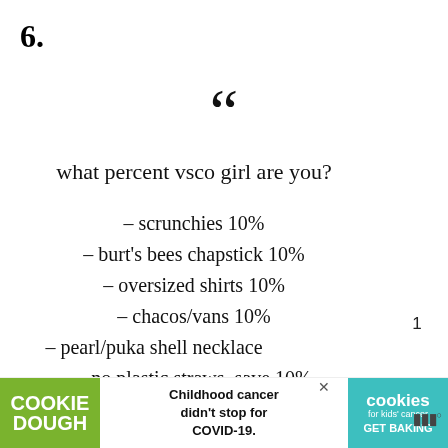6.
[Figure (illustration): Large opening double quotation mark decorative symbol]
what percent vsco girl are you?
– scrunchies 10%
– burt's bees chapstick 10%
– oversized shirts 10%
– chacos/vans 10%
– pearl/puka shell necklace
– no plastic straws, save 10%
[Figure (infographic): UI elements: teal heart like button with count 1, share icon button, WHAT'S NEXT arrow label with thumbnail and '25 Funny Wives Who...' text]
[Figure (infographic): Advertisement banner: COOKIE DOUGH logo on green left, 'Childhood cancer didn't stop for COVID-19.' center text, cookies for kids' cancer GET BAKING on teal right, with X close button and WW logo]